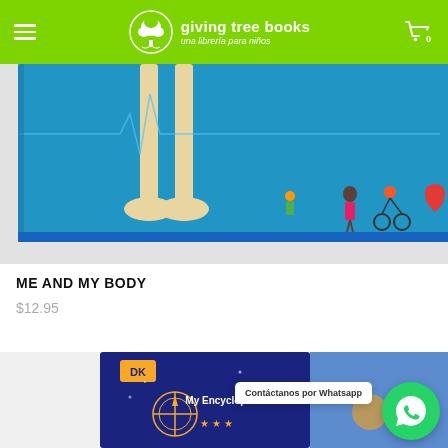giving tree books — una librería para niños
[Figure (photo): Partial view of 'Me and My Body' book cover showing bone illustrations and cartoon characters on blue background]
ME AND MY BODY
$12.95
[Figure (photo): Partial view of DK 'My Encyclopedia of...' book cover with compass rose design on dark background]
Contáctanos por Whatsapp